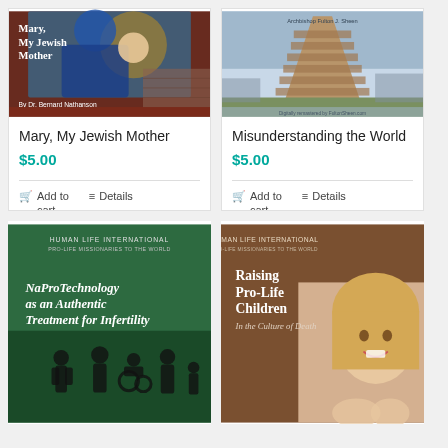[Figure (illustration): Book cover: Mary, My Jewish Mother by Dr. Bernard Nathanson, showing a stained glass image of Mary and baby Jesus]
Mary, My Jewish Mother
$5.00
Add to cart
Details
[Figure (illustration): Book cover: Misunderstanding the World by Archbishop Fulton J. Sheen, showing a painting of the Tower of Babel]
Misunderstanding the World
$5.00
Add to cart
Details
[Figure (illustration): Book cover: NaProTechnology as an Authentic Treatment for Infertility, Human Life International Pro-Life Missionaries to the World, green background with silhouette family]
[Figure (illustration): Book cover: Raising Pro-Life Children In the Culture of Death, Human Life International Pro-Life Missionaries to the World, brown background with smiling girl photo]